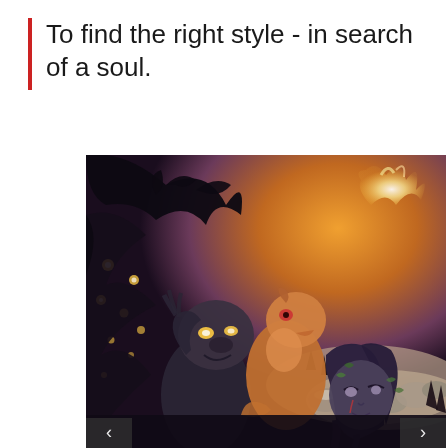To find the right style - in search of a soul.
[Figure (illustration): Fantasy digital illustration showing a dark, atmospheric scene with a large creature with antlers made of black birds/ravens at the top left, glowing eyes in shadow on the left, a brown fox or similar animal in the center, a troll-like creature, a girl with long dark purple hair and leaf decorations in the foreground right, a fiery glowing spirit shape in the upper right, and a rocky moonlit landscape in the background.]